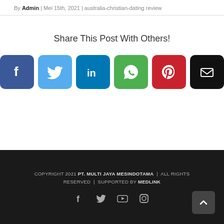By Admin | Mei 15th, 2021 | australia-christian-dating review
Share This Post With Others!
[Figure (infographic): Six social share buttons: Facebook (dark blue), Twitter (light blue), LinkedIn (blue), WhatsApp (green), Pinterest (red), Email (black)]
COPYRIGHT 2021 PT. MULTI JAYA MESINDOTAMA | ALL RIGHTS RESERVED | SUPPORTED BY MEDLINK